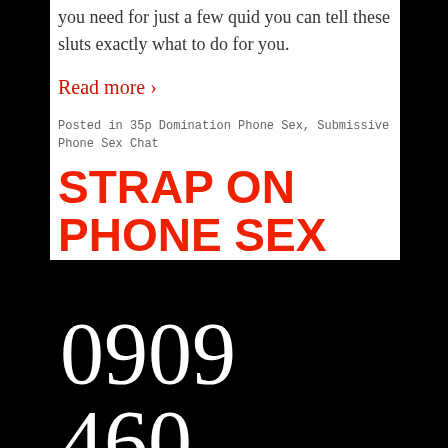you need for just a few quid you can tell these sluts exactly what to do for you.
Read more ›
Posted in 35p Domination Phone Sex, Submissive Phone Sex Chat
STRAP ON PHONE SEX
0909 460